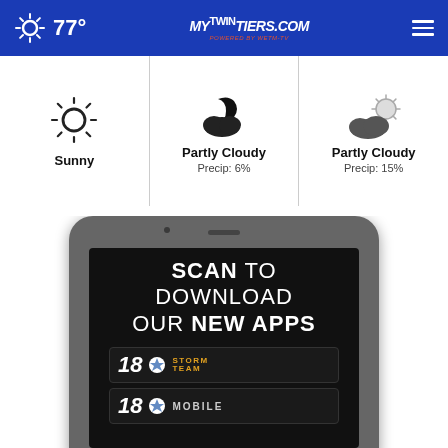77° | mytwintiers.com | Navigation
[Figure (infographic): Weather forecast row: Sunny (no precip), Partly Cloudy Precip: 6%, Partly Cloudy Precip: 15%]
Sunny
Partly Cloudy
Precip: 6%
Partly Cloudy
Precip: 15%
[Figure (infographic): Smartphone mockup showing 'SCAN TO DOWNLOAD OUR NEW APPS' with Channel 18 Storm Team and Channel 18 Mobile app badges]